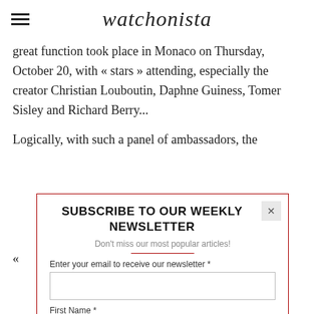watchonista
great function took place in Monaco on Thursday, October 20, with « stars » attending, especially the creator Christian Louboutin, Daphne Guiness, Tomer Sisley and Richard Berry...
Logically, with such a panel of ambassadors, the
SUBSCRIBE TO OUR WEEKLY NEWSLETTER
Don't miss our most popular articles!
Enter your email to receive our newsletter *
First Name *